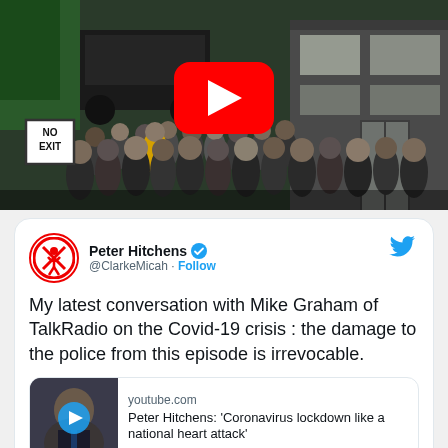[Figure (screenshot): YouTube video thumbnail showing a crowd of people outside a store with a 'NO EXIT' sign, with a YouTube play button overlay]
Peter Hitchens @ClarkeMicah · Follow
My latest conversation with Mike Graham of TalkRadio on the Covid-19 crisis : the damage to the police from this episode is irrevocable.
[Figure (screenshot): YouTube link card showing Peter Hitchens thumbnail with play button, youtube.com domain, title: Peter Hitchens: 'Coronavirus lockdown like a national heart attack']